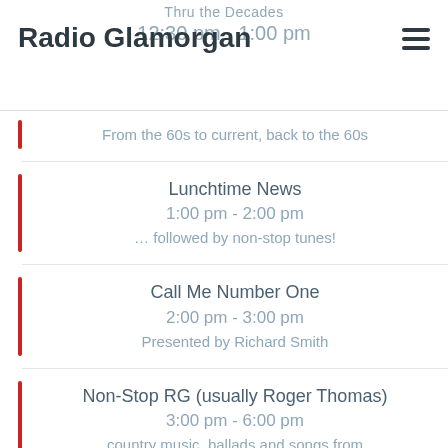Thru the Decades
Radio Glamorgan
12:30 pm - 1:00 pm
From the 60s to current, back to the 60s
Lunchtime News
1:00 pm - 2:00 pm
… followed by non-stop tunes!
Call Me Number One
2:00 pm - 3:00 pm
Presented by Richard Smith
Non-Stop RG (usually Roger Thomas)
3:00 pm - 6:00 pm
country music, ballads and songs from the shows